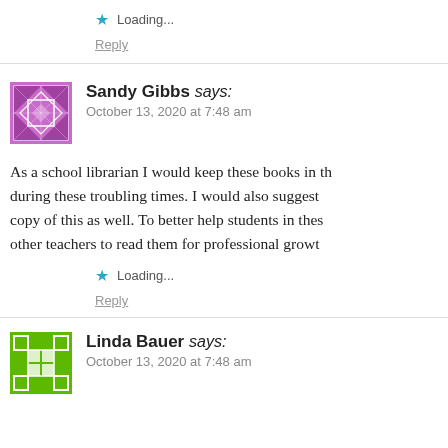Loading...
Reply
Sandy Gibbs says: October 13, 2020 at 7:48 am
As a school librarian I would keep these books in th... during these troubling times. I would also suggest... copy of this as well. To better help students in thes... other teachers to read them for professional growt...
Loading...
Reply
Linda Bauer says: October 13, 2020 at 7:48 am